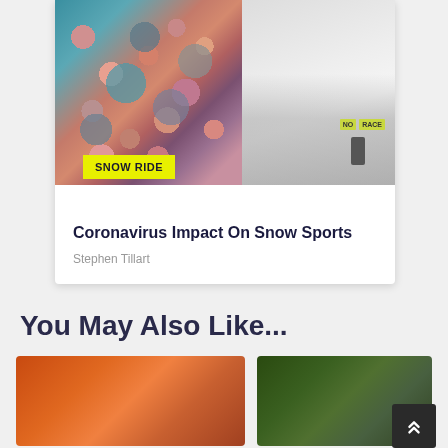[Figure (photo): Article card with two images side by side: left shows a coronavirus particle close-up (colorful microscope image with pink/orange spiky particles on teal background), right shows a snowy ski slope with a person and yellow NO RACE banners]
SNOW RIDE
Coronavirus Impact On Snow Sports
Stephen Tillart
You May Also Like...
[Figure (photo): Thumbnail image on the left showing what appears to be a car interior or vehicle detail in orange/brown tones]
[Figure (photo): Thumbnail image on the right showing a forested or outdoor scene in green tones]